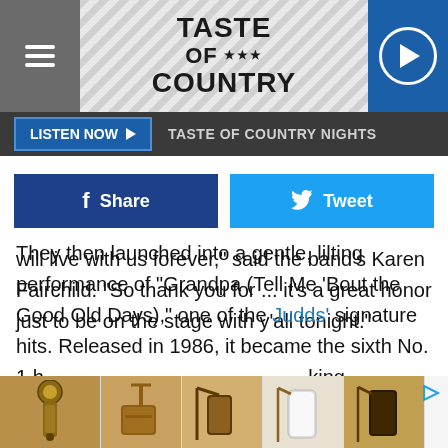[Figure (logo): Taste of Country website header with hamburger menu, logo, and play button]
LISTEN NOW ▶  TASTE OF COUNTRY NIGHTS
[Figure (screenshot): Facebook Share and Twitter Tweet social sharing buttons]
will live with us forever," said the band's Karen Fairchild. "So thank you for ... it's a great honor just to be on the stage with y'all tonight."
They then launched into a gentle, lilting performance of "Grandpa (Tell Me 'Bout the Good Old Days)," one of the Judds' signature hits. Released in 1986, it became the sixth No. 1 h... king mothe... this
[Figure (screenshot): Advertisement strip showing leather phone case accessories]